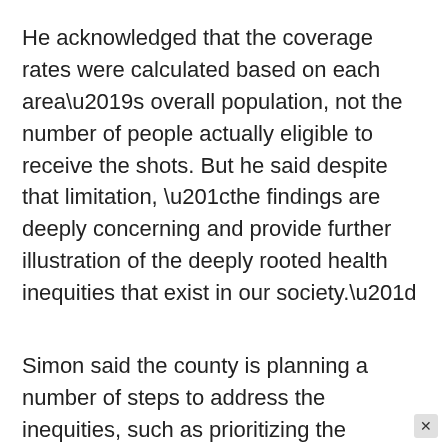He acknowledged that the coverage rates were calculated based on each area’s overall population, not the number of people actually eligible to receive the shots. But he said despite that limitation, “the findings are deeply concerning and provide further illustration of the deeply rooted health inequities that exist in our society.”
Simon said the county is planning a number of steps to address the inequities, such as prioritizing the establishment of more